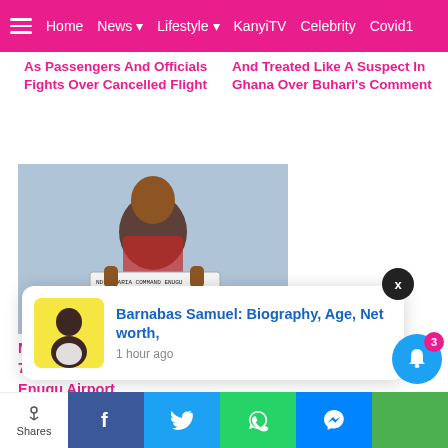≡  Home  News ▾  Lifestyle ▾  KanyiTV  Celebrity  Covid1
As Passengers And Officials Fights Over Cancelled Flight
And Treated Like A Suspect In Ghana Over Buhari's Comment
[Figure (photo): Nigerian man holding a placard from NDLEA Aria Command Enugu with name, age 50 years, sex male, place of arrest arrival hall, date of arrest 5th August 2022]
Nigerian Man From Ethiopia Excretes 77 Pellets Of Cocaine On Arrival At Enugu Airport
Barnabas Samuel: Biography, Age, Net worth,
1 hour ago
Shares  [Facebook] [Twitter] [WhatsApp] [Messenger] [More]